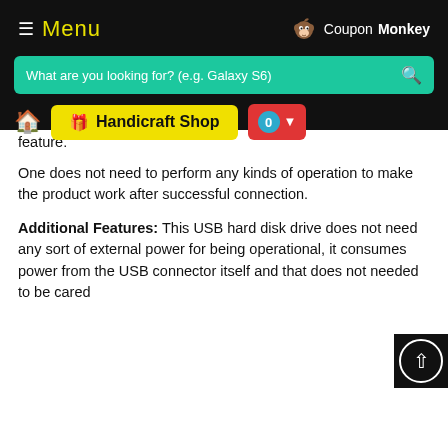Menu | CouponMonkey | Handicraft Shop
feature.
One does not need to perform any kinds of operation to make the product work after successful connection.
Additional Features: This USB hard disk drive does not need any sort of external power for being operational, it consumes power from the USB connector itself and that does not needed to be cared